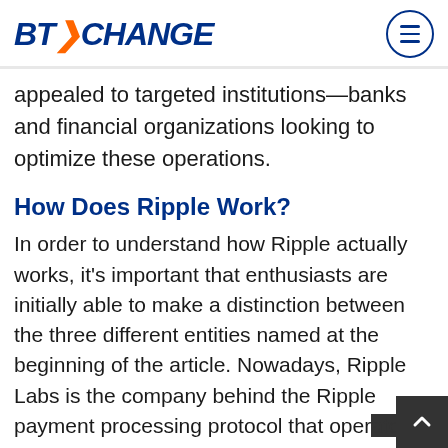BTXCHANGE
appealed to targeted institutions—banks and financial organizations looking to optimize these operations.
How Does Ripple Work?
In order to understand how Ripple actually works, it's important that enthusiasts are initially able to make a distinction between the three different entities named at the beginning of the article. Nowadays, Ripple Labs is the company behind the Ripple payment processing protocol that operates specifically on RippleNet, using the